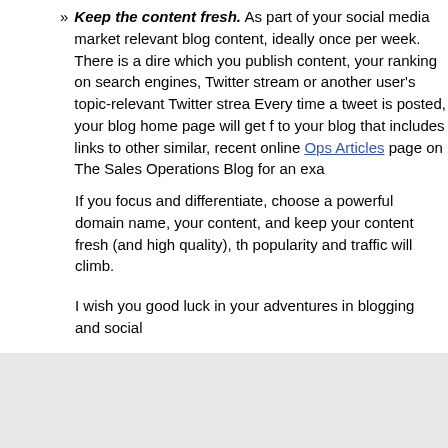» Keep the content fresh. As part of your social media market relevant blog content, ideally once per week. There is a dire which you publish content, your ranking on search engines, Twitter stream or another user's topic-relevant Twitter strea Every time a tweet is posted, your blog home page will get f to your blog that includes links to other similar, recent online Ops Articles page on The Sales Operations Blog for an exa
If you focus and differentiate, choose a powerful domain name, your content, and keep your content fresh (and high quality), th popularity and traffic will climb.
I wish you good luck in your adventures in blogging and social
» Marci on Twitter
» Marci on LinkedIn
» Marci's Blog
This entry is filed under Analytics, Bing, Blogs, Branding, Competitors, Content, Exclusive Content, Google, Search Engine Optimization, SEO, Strategy, Twitter. You can follow any responses to this entry through the RSS closed.
Comments are closed.